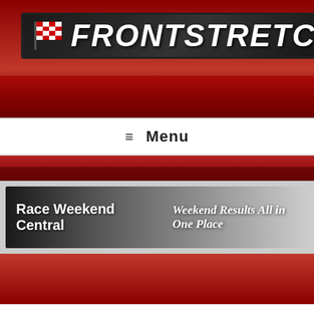[Figure (logo): Frontstretch logo banner with checkered flag icon and red racing background with crowd silhouette]
≡ Menu
[Figure (illustration): Race Weekend Central banner ad - Weekend Results All in One Place]
Statement On Dr. Joe Mattioli's Passing